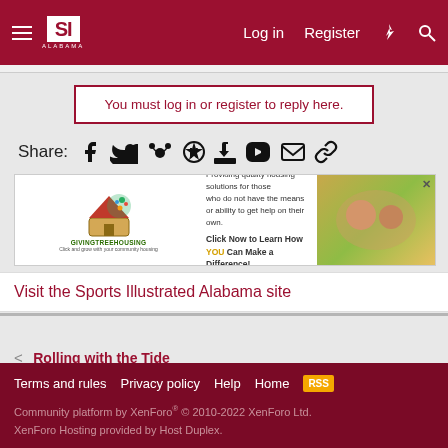SI Alabama — Log in | Register
You must log in or register to reply here.
Share:
[Figure (other): Share icons: Facebook, Twitter, Reddit, Pinterest, Tumblr, WhatsApp, Email, Link]
[Figure (other): GivingTreeHousing advertisement banner: Providing quality housing solutions for those who do not have the means or ability to get help on their own. Click Now to Learn How YOU Can Make a Difference!]
Visit the Sports Illustrated Alabama site
< Rolling with the Tide
Terms and rules  Privacy policy  Help  Home  [RSS]
Community platform by XenForo® © 2010-2022 XenForo Ltd.
XenForo Hosting provided by Host Duplex.